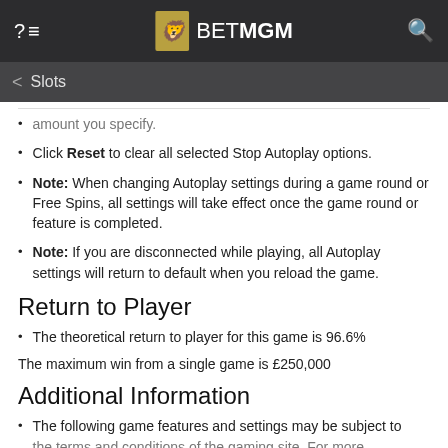BetMGM – Slots
amount you specify.
Click Reset to clear all selected Stop Autoplay options.
Note: When changing Autoplay settings during a game round or Free Spins, all settings will take effect once the game round or feature is completed.
Note: If you are disconnected while playing, all Autoplay settings will return to default when you reload the game.
Return to Player
The theoretical return to player for this game is 96.6%
The maximum win from a single game is £250,000
Additional Information
The following game features and settings may be subject to the terms and conditions of the gaming site. For more